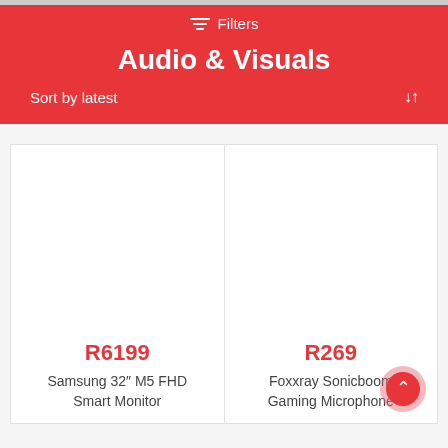Filters
Audio & Visuals
Sort by latest
R6199
Samsung 32" M5 FHD Smart Monitor
R269
Foxxray Sonicboom Gaming Microphone